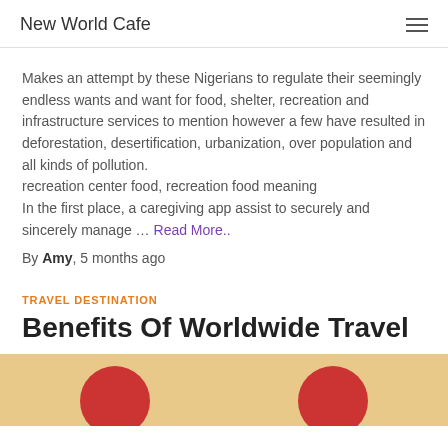New World Cafe
Makes an attempt by these Nigerians to regulate their seemingly endless wants and want for food, shelter, recreation and infrastructure services to mention however a few have resulted in deforestation, desertification, urbanization, over population and all kinds of pollution.
recreation center food, recreation food meaning
In the first place, a caregiving app assist to securely and sincerely manage … Read More..
By Amy, 5 months ago
TRAVEL DESTINATION
Benefits Of Worldwide Travel
[Figure (photo): Partial image showing orange/tan background with two red circular shapes visible at the bottom]